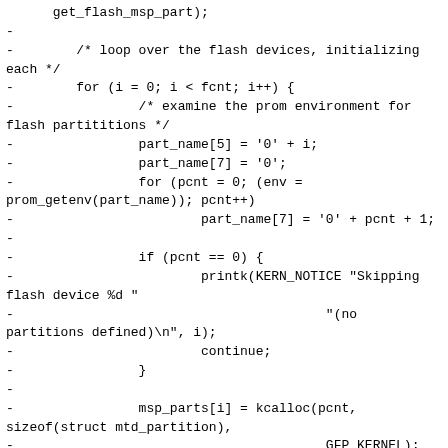get_flash_msp_part);
-
-        /* loop over the flash devices, initializing each */
-        for (i = 0; i < fcnt; i++) {
-                /* examine the prom environment for flash partititions */
-                part_name[5] = '0' + i;
-                part_name[7] = '0';
-                for (pcnt = 0; (env =
prom_getenv(part_name)); pcnt++)
-                        part_name[7] = '0' + pcnt + 1;
-
-                if (pcnt == 0) {
-                        printk(KERN_NOTICE "Skipping flash device %d "
-                                        "(no partitions defined)\n", i);
-                        continue;
-                }
-
-                msp_parts[i] = kcalloc(pcnt, sizeof(struct mtd_partition),
-                                        GFP_KERNEL);
-                if (!msp_parts[i])
-                        goto cleanup_loop;
-
-                /* now initialize the devices proper */
-                flash_name[5] = '0' + i;
-                env = prom_getenv(flash_name);